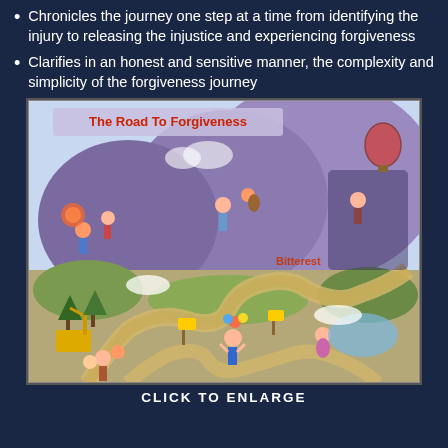Chronicles the journey one step at a time from identifying the injury to releasing the injustice and experiencing forgiveness
Clarifies in an honest and sensitive manner, the complexity and simplicity of the forgiveness journey
[Figure (illustration): An illustrated map titled 'The Road To Forgiveness' showing cartoon characters traveling a winding road through various scenes representing stages of forgiveness, with signs, hazards, and obstacles along the way.]
CLICK TO ENLARGE